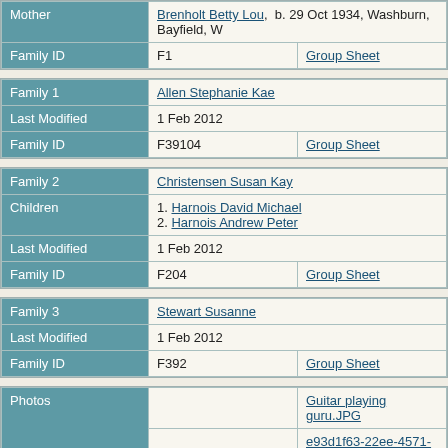| Mother | Brenholt Betty Lou, b. 29 Oct 1934, Washburn, Bayfield, W |
| --- | --- |
| Family ID | F1 | Group Sheet |
| Family 1 | Allen Stephanie Kae |
| --- | --- |
| Last Modified | 1 Feb 2012 |
| Family ID | F39104 | Group Sheet |
| Family 2 | Christensen Susan Kay |
| --- | --- |
| Children | 1. Harnois David Michael
2. Harnois Andrew Peter |
| Last Modified | 1 Feb 2012 |
| Family ID | F204 | Group Sheet |
| Family 3 | Stewart Susanne |
| --- | --- |
| Last Modified | 1 Feb 2012 |
| Family ID | F392 | Group Sheet |
| Photos |  | Guitar playing guru.JPG |
| --- | --- | --- |
|  |  | e93d1f63-22ee-4571-8b23-0f765b671f2 |
|  |  | michael.jpg |